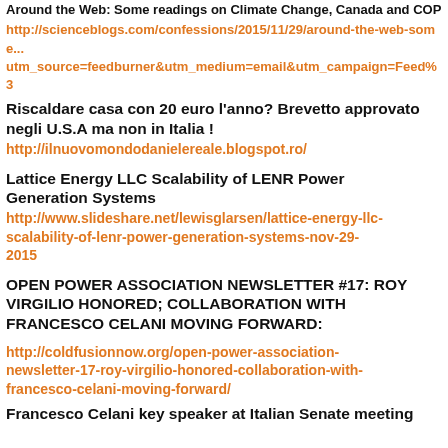Around the Web: Some readings on Climate Change, Canada and COP
http://scienceblogs.com/confessions/2015/11/29/around-the-web-some... utm_source=feedburner&utm_medium=email&utm_campaign=Feed%3...
Riscaldare casa con 20 euro l'anno? Brevetto approvato negli U.S.A ma non in Italia !
http://ilnuovomondodanielereale.blogspot.ro/
Lattice Energy LLC Scalability of LENR Power Generation Systems
http://www.slideshare.net/lewisglarsen/lattice-energy-llc-scalability-of-lenr-power-generation-systems-nov-29-2015
OPEN POWER ASSOCIATION NEWSLETTER #17: ROY VIRGILIO HONORED; COLLABORATION WITH FRANCESCO CELANI MOVING FORWARD:
http://coldfusionnow.org/open-power-association-newsletter-17-roy-virgilio-honored-collaboration-with-francesco-celani-moving-forward/
Francesco Celani key speaker at Italian Senate meeting